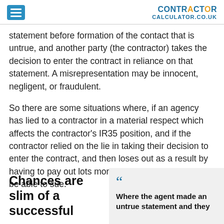CONTRACTOR CALCULATOR.CO.UK
statement before formation of the contact that is untrue, and another party (the contractor) takes the decision to enter the contract in reliance on that statement. A misrepresentation may be innocent, negligent, or fraudulent.
So there are some situations where, if an agency has lied to a contractor in a material respect which affects the contractor's IR35 position, and if the contractor relied on the lie in taking their decision to enter the contract, and then loses out as a result by having to pay out lots more tax, the contractor may be able to sue.
Chances are slim of a successful
Where the agent made an untrue statement and they